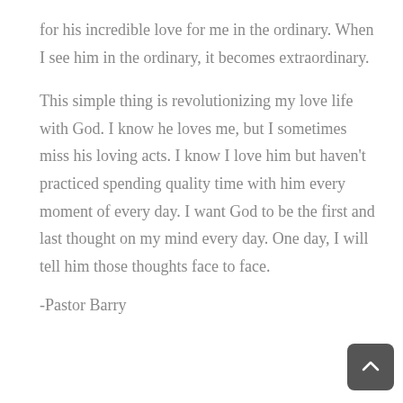for his incredible love for me in the ordinary. When I see him in the ordinary, it becomes extraordinary.
This simple thing is revolutionizing my love life with God. I know he loves me, but I sometimes miss his loving acts. I know I love him but haven't practiced spending quality time with him every moment of every day. I want God to be the first and last thought on my mind every day. One day, I will tell him those thoughts face to face.
-Pastor Barry